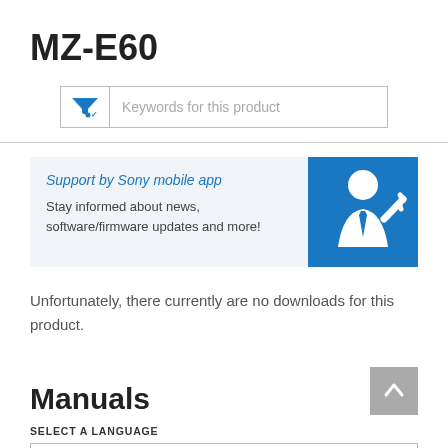MZ-E60
[Figure (screenshot): Search bar with filter/funnel icon and placeholder text 'Keywords for this product']
[Figure (infographic): Support by Sony mobile app promotional banner with blue background image of a person in suit and text: 'Support by Sony mobile app - Stay informed about news, software/firmware updates and more!']
Unfortunately, there currently are no downloads for this product.
Manuals
SELECT A LANGUAGE
[Figure (screenshot): Language select dropdown box]